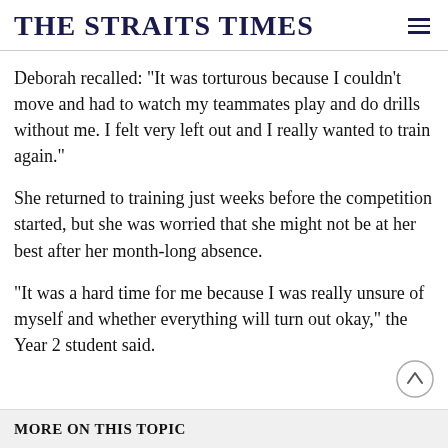THE STRAITS TIMES
Deborah recalled: "It was torturous because I couldn't move and had to watch my teammates play and do drills without me. I felt very left out and I really wanted to train again."
She returned to training just weeks before the competition started, but she was worried that she might not be at her best after her month-long absence.
"It was a hard time for me because I was really unsure of myself and whether everything will turn out okay," the Year 2 student said.
MORE ON THIS TOPIC